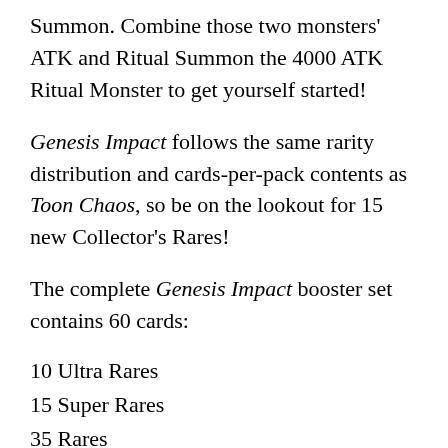Summon. Combine those two monsters' ATK and Ritual Summon the 4000 ATK Ritual Monster to get yourself started!
Genesis Impact follows the same rarity distribution and cards-per-pack contents as Toon Chaos, so be on the lookout for 15 new Collector's Rares!
The complete Genesis Impact booster set contains 60 cards:
10 Ultra Rares
15 Super Rares
35 Rares
*15 cards in the set are also available as Collector's Rares
Each booster pack contains 7 cards: